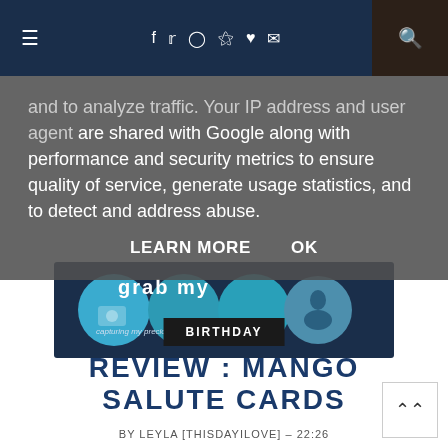Navigation bar with hamburger menu, social icons (facebook, twitter, instagram, pinterest, heart, mail), and search button
and to analyze traffic. Your IP address and user agent are shared with Google along with performance and security metrics to ensure quality of service, generate usage statistics, and to detect and address abuse.
LEARN MORE   OK
[Figure (screenshot): Instagram-style social media banner for the blog 'This Day I Love' showing circular photo thumbnails on a dark blue background with the text 'grab my' and 'capturing my precious Mommy moments']
BIRTHDAY
REVIEW : MANGO SALUTE CARDS
BY LEYLA [THISDAYILOVE] - 22:26